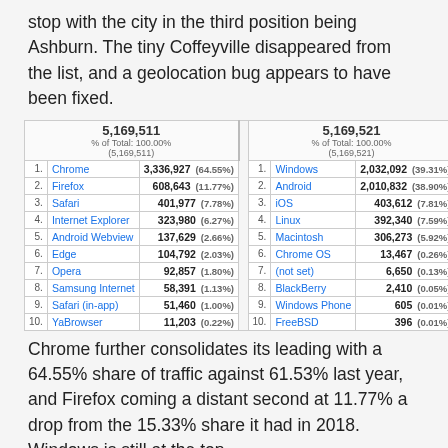stop with the city in the third position being Ashburn. The tiny Coffeyville disappeared from the list, and a geolocation bug appears to have been fixed.
| # | Browser | Value |  | # | OS | Value |
| --- | --- | --- | --- | --- | --- | --- |
|  | 5,169,511 % of Total: 100.00% (5,169,511) |  |  |  | 5,169,521 % of Total: 100.00% (5,169,521) |  |
| 1. | Chrome | 3,336,927 (64.55%) |  | 1. | Windows | 2,032,092 (39.31%) |
| 2. | Firefox | 608,643 (11.77%) |  | 2. | Android | 2,010,832 (38.90%) |
| 3. | Safari | 401,977 (7.78%) |  | 3. | iOS | 403,612 (7.81%) |
| 4. | Internet Explorer | 323,980 (6.27%) |  | 4. | Linux | 392,340 (7.59%) |
| 5. | Android Webview | 137,629 (2.66%) |  | 5. | Macintosh | 306,273 (5.92%) |
| 6. | Edge | 104,792 (2.03%) |  | 6. | Chrome OS | 13,467 (0.26%) |
| 7. | Opera | 92,857 (1.80%) |  | 7. | (not set) | 6,650 (0.13%) |
| 8. | Samsung Internet | 58,391 (1.13%) |  | 8. | BlackBerry | 2,410 (0.05%) |
| 9. | Safari (in-app) | 51,460 (1.00%) |  | 9. | Windows Phone | 605 (0.01%) |
| 10. | YaBrowser | 11,203 (0.22%) |  | 10. | FreeBSD | 396 (0.01%) |
Chrome further consolidates its leading with a 64.55% share of traffic against 61.53% last year, and Firefox coming a distant second at 11.77% a drop from the 15.33% share it had in 2018. Windows is still at the top,